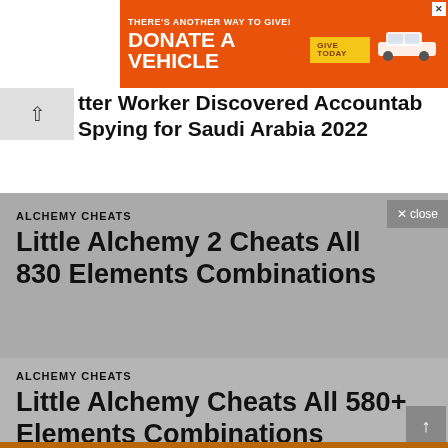[Figure (advertisement): Orange banner ad: THERE'S ANOTHER WAY TO GIVE! DONATE A VEHICLE | GIVE TODAY button | car image]
tter Worker Discovered Accountable Spying for Saudi Arabia 2022
ALCHEMY CHEATS
Little Alchemy 2 Cheats All 830 Elements Combinations
ALCHEMY CHEATS
Little Alchemy Cheats All 580+ Elements Combinations
ALCHEMY CHEATS
All Little Alchemy Elemente Lösungen